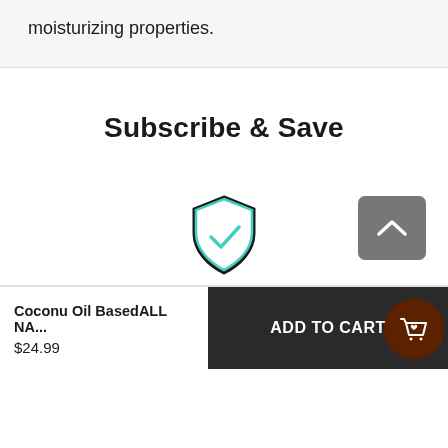moisturizing properties.
Subscribe & Save
[Figure (illustration): Shield icon with a checkmark in teal/cyan color outline, representing security or guarantee.]
[Figure (illustration): Gray square button with an upward-pointing chevron arrow, representing a back-to-top button.]
Coconu Oil BasedALL NA... $24.99
ADD TO CART
[Figure (illustration): Dark brown circular button with a shopping bag and heart icon.]